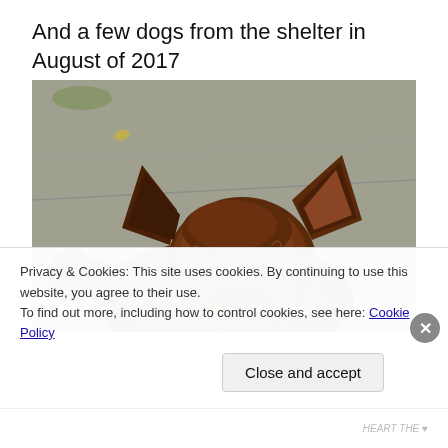And a few dogs from the shelter in August of 2017
[Figure (photo): A small long-haired brown/chocolate Chihuahua dog looking up at the camera, sitting on a concrete sidewalk surface.]
Privacy & Cookies: This site uses cookies. By continuing to use this website, you agree to their use.
To find out more, including how to control cookies, see here: Cookie Policy
Close and accept